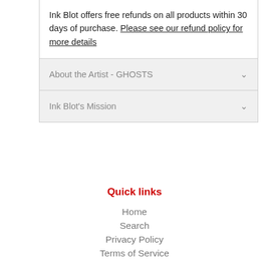Ink Blot offers free refunds on all products within 30 days of purchase. Please see our refund policy for more details
About the Artist - GHOSTS
Ink Blot's Mission
Quick links
Home
Search
Privacy Policy
Terms of Service